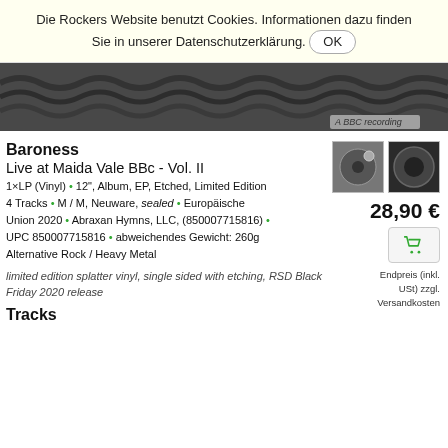Die Rockers Website benutzt Cookies. Informationen dazu finden Sie in unserer Datenschutzerklärung. OK
[Figure (photo): Partial album cover image with dark wavy pattern background and 'A BBC recording' label in bottom right]
[Figure (photo): Two small thumbnail images of the album]
Baroness
28,90 €
Live at Maida Vale BBc - Vol. II
1×LP (Vinyl) · 12", Album, EP, Etched, Limited Edition
4 Tracks · M / M, Neuware, sealed · Europäische Union 2020 · Abraxan Hymns, LLC, (850007715816) · UPC 850007715816 · abweichendes Gewicht: 260g Alternative Rock / Heavy Metal
Endpreis (inkl. USt) zzgl. Versandkosten
limited edition splatter vinyl, single sided with etching, RSD Black Friday 2020 release
Tracks